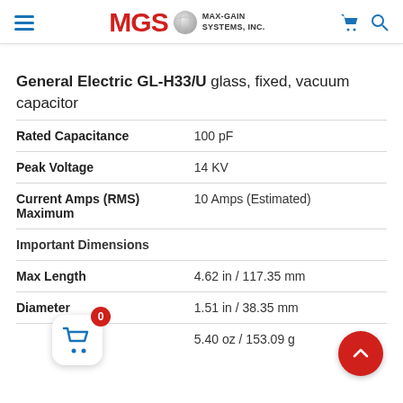MGS MAX-GAIN SYSTEMS, INC.
General Electric GL-H33/U glass, fixed, vacuum capacitor
| Property | Value |
| --- | --- |
| Rated Capacitance | 100 pF |
| Peak Voltage | 14 KV |
| Current Amps (RMS) Maximum | 10 Amps (Estimated) |
| Important Dimensions |  |
| Max Length | 4.62 in / 117.35 mm |
| Diameter | 1.51 in / 38.35 mm |
|  | 5.40 oz / 153.09 g |